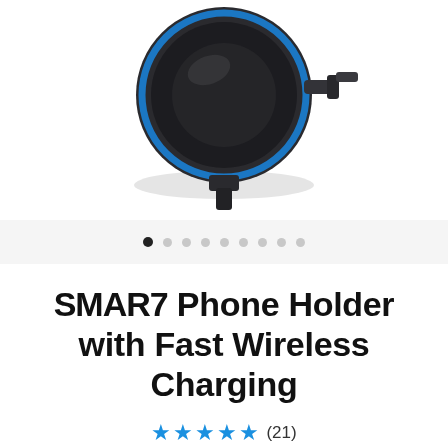[Figure (photo): Product photo of a SMART Phone Holder with Fast Wireless Charging device — a circular black/dark grey car phone holder mount with a blue LED ring accent, shown partially from above/side angle on white background.]
● ○ ○ ○ ○ ○ ○ ○ ○ (image carousel dots, first dot active)
SMART Phone Holder with Fast Wireless Charging
★★★★★ (21)
Rs. 4,999.00  Rs. 2,999.00